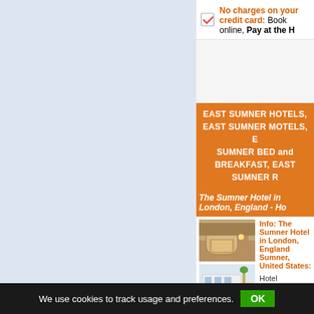No charges on your credit card: Book online, Pay at the H
EAST SUMNER HOTELS, EAST SUMNER MOTELS, E SUMNER BED and BREAKFAST, EAST SUMNER R
The Sumner Hotel in London, England - Ho
[Figure (photo): Interior photo of hotel lobby with wooden reception desk]
[Figure (photo): Exterior photo of hotel building with white facade]
Info: The Sumner Hotel in London, England Sumner, United States:
Hotel ★★★☆☆
Dollars - Euro: ...
Tel:Fax: ...
TV - HiFi: n/a
Clima: n/a
Frigobar: n/a
Desc: See 80 traveller reviews, 40 candid photos, and great dea Canada; United States; Caribbean; Mexico; Central America; So
In: United States
Web Site: The Sumner Hotel in London, England - Hotel Review
We use cookies to track usage and preferences. OK